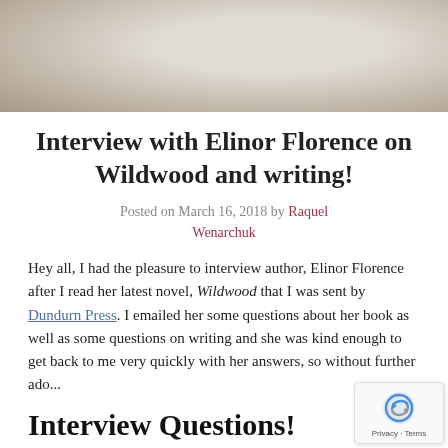[Figure (photo): Close-up photo of white fabric/lace with a wooden object partially visible at top]
Interview with Elinor Florence on Wildwood and writing!
Posted on March 16, 2018 by Raquel Wenarchuk
Hey all, I had the pleasure to interview author, Elinor Florence after I read her latest novel, Wildwood that I was sent by Dundurn Press. I emailed her some questions about her book as well as some questions on writing and she was kind enough to get back to me very quickly with her answers, so without further ado...
Interview Questions!